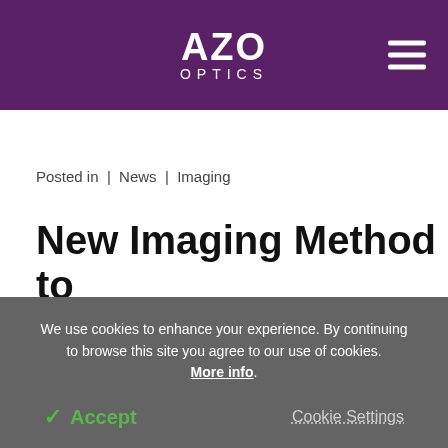AZO OPTICS
Posted in  |  News  |  Imaging
New Imaging Method to Treat Cancers and Viral
We use cookies to enhance your experience. By continuing to browse this site you agree to our use of cookies. More info.
Accept   Cookie Settings